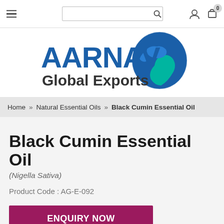Navigation bar with hamburger menu, search bar, user icon, and cart (0 items)
[Figure (logo): AARNAV Global Exports logo with blue and teal globe graphic and blue/dark text]
Home » Natural Essential Oils » Black Cumin Essential Oil
Black Cumin Essential Oil
(Nigella Sativa)
Product Code : AG-E-092
ENQUIRY NOW